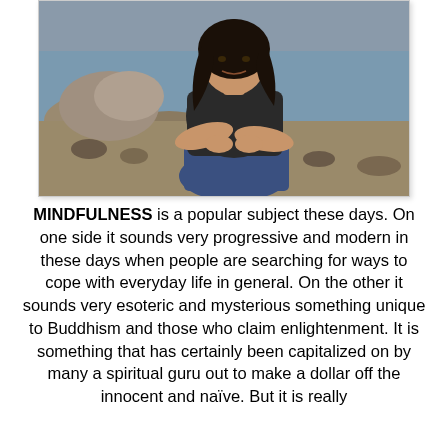[Figure (photo): A person with long dark hair sitting on rocky beach shore with water in background, wearing a dark t-shirt and jeans, arms crossed.]
MINDFULNESS is a popular subject these days. On one side it sounds very progressive and modern in these days when people are searching for ways to cope with everyday life in general. On the other it sounds very esoteric and mysterious something unique to Buddhism and those who claim enlightenment. It is something that has certainly been capitalized on by many a spiritual guru out to make a dollar off the innocent and naïve. But it is really